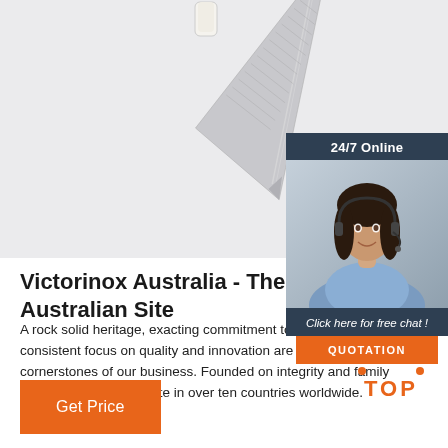[Figure (photo): A Damascus steel knife with a white/bone handle, photographed on a light gray background, blade pointing downward to the right.]
[Figure (photo): 24/7 Online customer service panel showing a smiling female agent wearing a headset, with a dark navy background, 'Click here for free chat!' text in italic, and an orange QUOTATION button.]
Victorinox Australia - The Of Australian Site
A rock solid heritage, exacting commitment to precision and a consistent focus on quality and innovation are the absolute cornerstones of our business. Founded on integrity and family values, today we operate in over ten countries worldwide.
[Figure (other): Orange 'TOP' button with decorative orange dots forming an upward-pointing triangle shape above the word TOP.]
Get Price